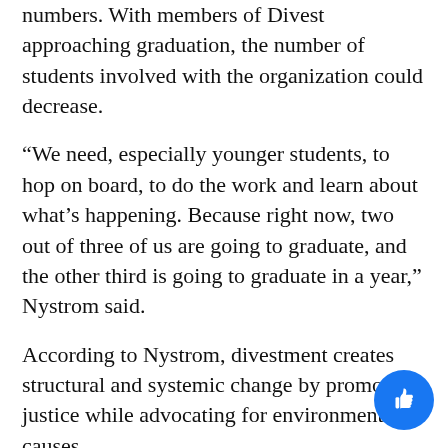numbers. With members of Divest approaching graduation, the number of students involved with the organization could decrease.
“We need, especially younger students, to hop on board, to do the work and learn about what’s happening. Because right now, two out of three of us are going to graduate, and the other third is going to graduate in a year,” Nystrom said.
According to Nystrom, divestment creates structural and systemic change by promoting justice while advocating for environmental causes.
“The climate crisis is impending doom for everyone on the planet. But more importantly, disproportionately for certain marginalized communities and countries,” they said. “I also thin that the university should be more transparent ab